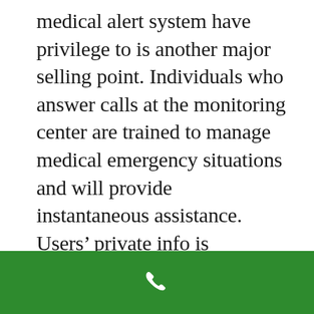medical alert system have privilege to is another major selling point. Individuals who answer calls at the monitoring center are trained to manage medical emergency situations and will provide instantaneous assistance. Users’ private info is typically kept file to guarantee that excellent care and preventative measures are taken when responding to medical issues or emergencies.
Where can i buy a
[Figure (other): Green navigation bar at bottom with white phone handset icon]